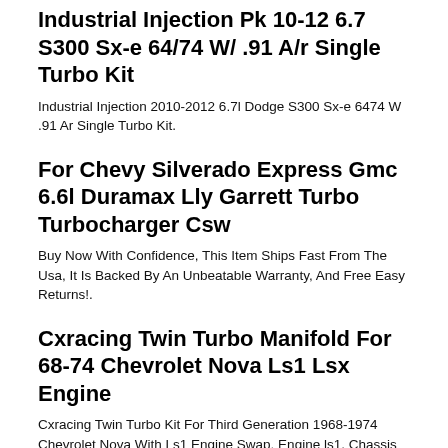Industrial Injection Pk 10-12 6.7 S300 Sx-e 64/74 W/ .91 A/r Single Turbo Kit
Industrial Injection 2010-2012 6.7l Dodge S300 Sx-e 6474 W .91 Ar Single Turbo Kit.
For Chevy Silverado Express Gmc 6.6l Duramax Lly Garrett Turbo Turbocharger Csw
Buy Now With Confidence, This Item Ships Fast From The Usa, It Is Backed By An Unbeatable Warranty, And Free Easy Returns!.
Cxracing Twin Turbo Manifold For 68-74 Chevrolet Nova Ls1 Lsx Engine
Cxracing Twin Turbo Kit For Third Generation 1968-1974 Chevrolet Nova With Ls1 Engine Swap. Engine ls1. Chassis 68-74 Chevrolet Nova. X1 Set Of Twin Turbo Header With Dp. To Support Boosted Turbo System, Built Engine And Fuel System Upgrade Are Required (not Included).
Cxracing Turbo Manifold Kit For 68-72 Chevrolet Chevelle Ls 2" Turbo Dp